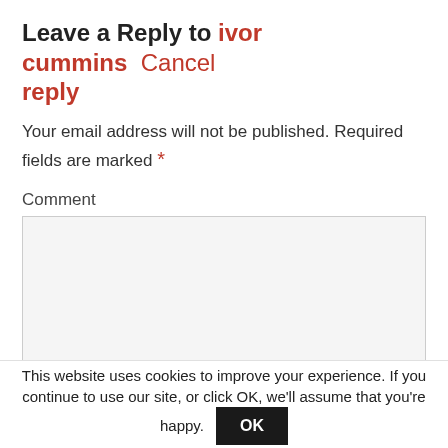Leave a Reply to ivor cummins Cancel reply
Your email address will not be published. Required fields are marked *
Comment
This website uses cookies to improve your experience. If you continue to use our site, or click OK, we’ll assume that you’re happy.